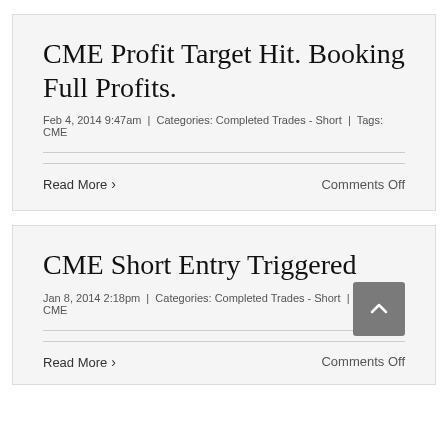CME Profit Target Hit. Booking Full Profits.
Feb 4, 2014 9:47am | Categories: Completed Trades - Short | Tags: CME
Read More
Comments Off
CME Short Entry Triggered
Jan 8, 2014 2:18pm | Categories: Completed Trades - Short | Tags: CME
Read More
Comments Off